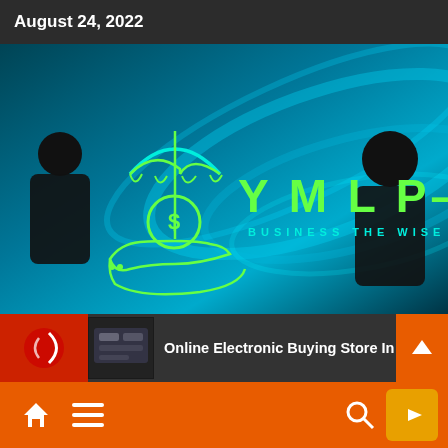August 24, 2022
[Figure (logo): YMLP-260 Business The Wise Choice logo with umbrella and dollar coin hand illustration on dark teal blue background with silhouettes of two people]
Online Electronic Buying Store In Ind
Home menu search YouTube navigation bar